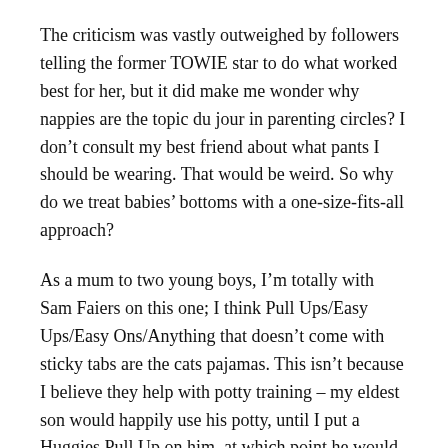The criticism was vastly outweighed by followers telling the former TOWIE star to do what worked best for her, but it did make me wonder why nappies are the topic du jour in parenting circles? I don't consult my best friend about what pants I should be wearing. That would be weird. So why do we treat babies' bottoms with a one-size-fits-all approach?
As a mum to two young boys, I'm totally with Sam Faiers on this one; I think Pull Ups/Easy Ups/Easy Ons/Anything that doesn't come with sticky tabs are the cats pajamas. This isn't because I believe they help with potty training – my eldest son would happily use his potty, until I put a Huggies Pull Up on him, at which point he would deposit his waste in there instead.
But as soon as your child reaches a certain age, they are